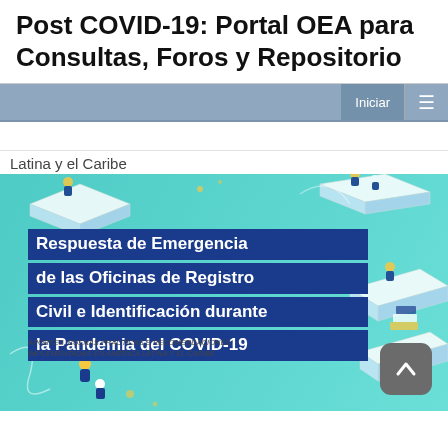Post COVID-19: Portal OEA para Consultas, Foros y Repositorio
Latina y el Caribe
[Figure (illustration): Infographic cover image with teal background showing isometric illustrations of people working and text in Spanish: 'Respuesta de Emergencia de las Oficinas de Registro Civil e Identificación durante la Pandemia del COVID-19'. Subtitle text about buenas prácticas e implementaciones en América Latina y el Caribe. Dark blue banner text blocks overlaid on the teal illustration. A dark grey scroll-to-top button in the bottom right corner.]